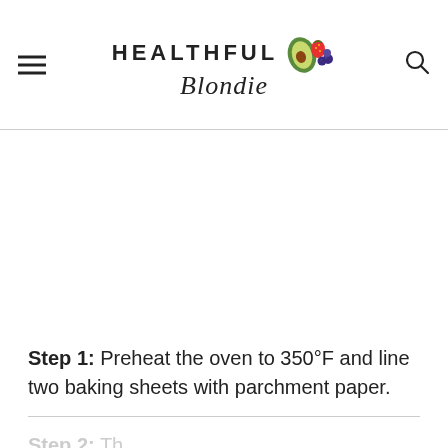HEALTHFUL Blondie
Step 1: Preheat the oven to 350°F and line two baking sheets with parchment paper.